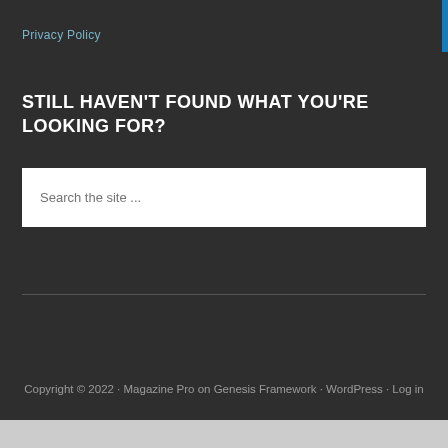Privacy Policy
STILL HAVEN'T FOUND WHAT YOU'RE LOOKING FOR?
Search the site ...
Copyright © 2022 · Magazine Pro on Genesis Framework · WordPress · Log in